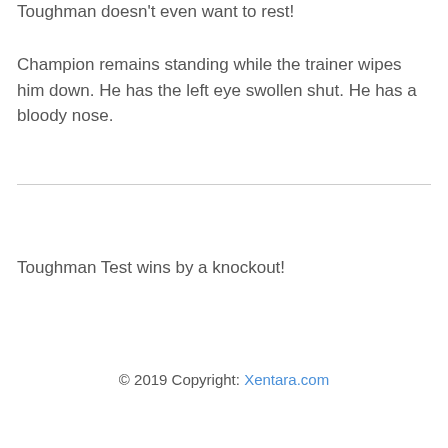Toughman doesn't even want to rest!
Champion remains standing while the trainer wipes him down. He has the left eye swollen shut. He has a bloody nose.
Toughman Test wins by a knockout!
© 2019 Copyright: Xentara.com